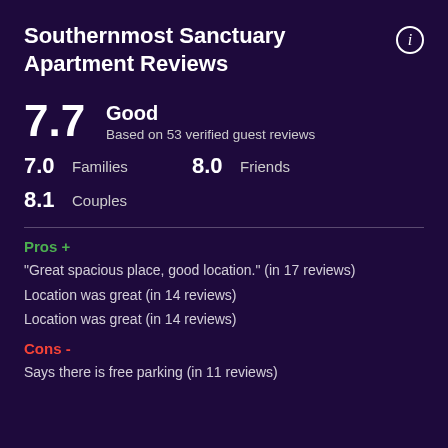Southernmost Sanctuary Apartment Reviews
7.7
Good
Based on 53 verified guest reviews
7.0   Families   8.0   Friends
8.1   Couples
Pros +
"Great spacious place, good location." (in 17 reviews)
Location was great (in 14 reviews)
Location was great (in 14 reviews)
Cons -
Says there is free parking (in 11 reviews)